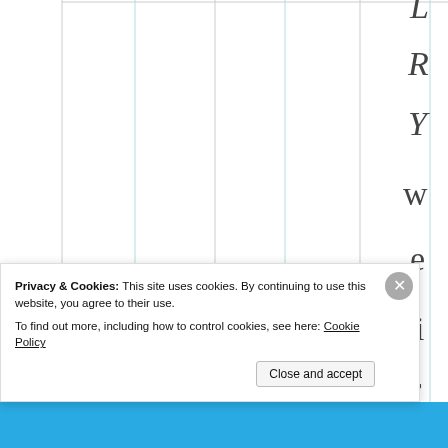[Figure (other): Table or spreadsheet grid with multiple vertical column lines on white background, with vertical stacked letters spelling 'RYweird!!U' on the right side]
Privacy & Cookies: This site uses cookies. By continuing to use this website, you agree to their use.
To find out more, including how to control cookies, see here: Cookie Policy
Close and accept